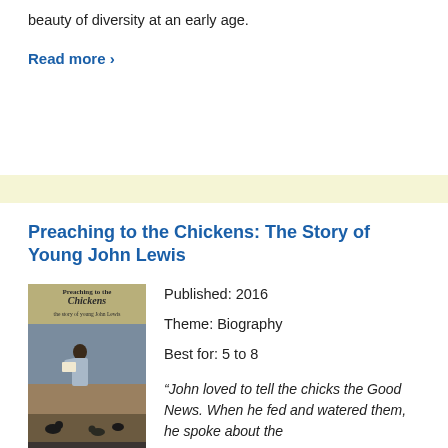beauty of diversity at an early age.
Read more ›
Preaching to the Chickens: The Story of Young John Lewis
[Figure (illustration): Book cover of 'Preaching to the Chickens: The Story of Young John Lewis' by Jabari Asim, foreword by John Lewis. Shows a young boy reading to chickens.]
Published: 2016
Theme: Biography
Best for: 5 to 8
“John loved to tell the chicks the Good News. When he fed and watered them, he spoke about the